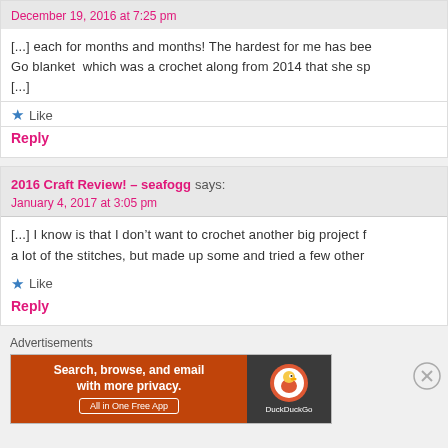December 19, 2016 at 7:25 pm
[...] each for months and months! The hardest for me has bee Go blanket which was a crochet along from 2014 that she sp [...]
★ Like
Reply
2016 Craft Review! – seafogg says:
January 4, 2017 at 3:05 pm
[...] I know is that I don't want to crochet another big project f a lot of the stitches, but made up some and tried a few other
★ Like
Reply
Advertisements
[Figure (infographic): DuckDuckGo advertisement banner: Search, browse, and email with more privacy. All in One Free App. Orange background on left, dark background with DuckDuckGo logo on right.]